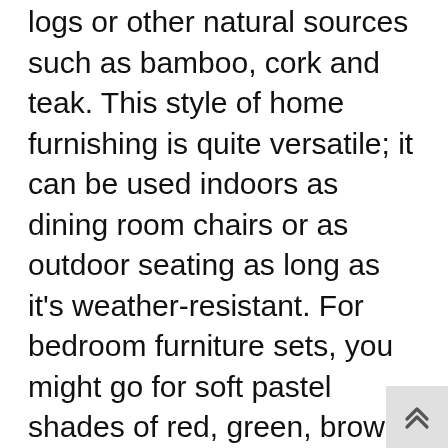logs or other natural sources such as bamboo, cork and teak. This style of home furnishing is quite versatile; it can be used indoors as dining room chairs or as outdoor seating as long as it's weather-resistant. For bedroom furniture sets, you might go for soft pastel shades of red, green, brown or black, while contemporary designs are usually in white, gray or black.
The biggest difference between rustic and contemporary is the use of metal materials in contemporary home design. Metal in rustic architecture comes in different shades, finishes and shapes. Its